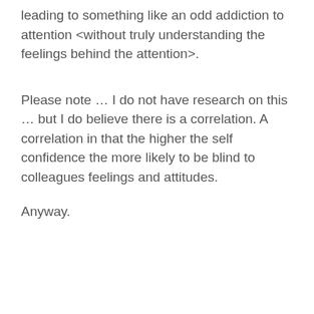leading to something like an odd addiction to attention <without truly understanding the feelings behind the attention>.
Please note … I do not have research on this … but I do believe there is a correlation. A correlation in that the higher the self confidence the more likely to be blind to colleagues feelings and attitudes.
Anyway.